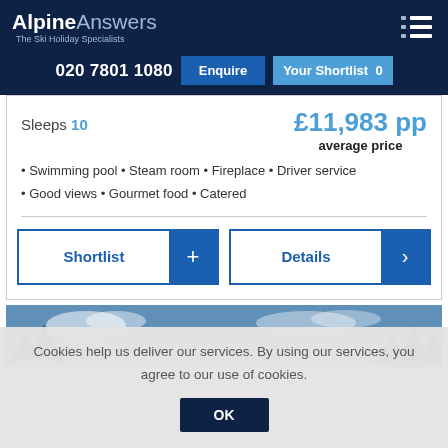[Figure (logo): Alpine Answers - The Ski Holiday Specialists logo on dark navy background]
020 7801 1080
Enquire
Your Shortlist  0
Sleeps 10
£11,983 pp average price
• Swimming pool • Steam room • Fireplace • Driver service
• Good views • Gourmet food • Catered
Shortlist +
Details >
[Figure (photo): Snowy forest landscape with blue sky and conifer trees covered in snow]
Cookies help us deliver our services. By using our services, you agree to our use of cookies.
OK